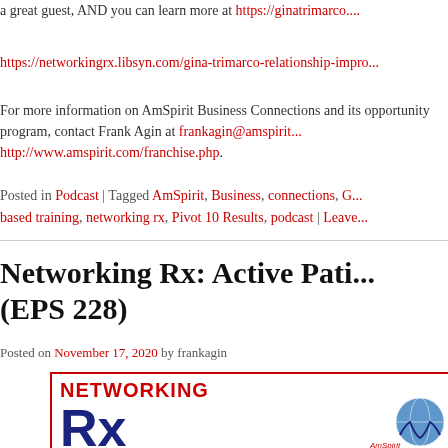a great guest, AND you can learn more at https://ginatrimarco....
https://networkingrx.libsyn.com/gina-trimarco-relationship-impro...
For more information on AmSpirit Business Connections and its opportunity program, contact Frank Agin at frankagin@amspirit... http://www.amspirit.com/franchise.php.
Posted in Podcast | Tagged AmSpirit, Business, connections, G... based training, networking rx, Pivot 10 Results, podcast | Leave...
Networking Rx: Active Pati... (EPS 228)
Posted on November 17, 2020 by frankagin
[Figure (logo): Networking Rx podcast logo showing the Rx symbol in dark blue on a white background with red border, with 'NETWORKING' text in red at top and globe/hands graphic at bottom right with AmSpirit branding.]